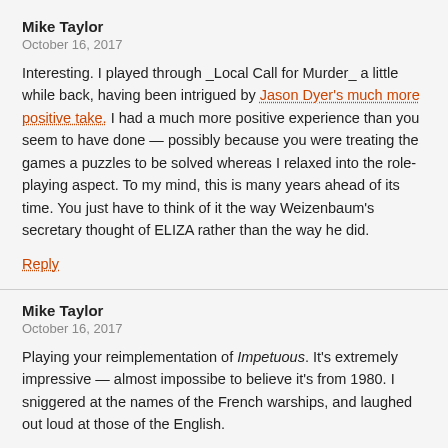Mike Taylor
October 16, 2017
Interesting. I played through _Local Call for Murder_ a little while back, having been intrigued by Jason Dyer's much more positive take. I had a much more positive experience than you seem to have done — possibly because you were treating the games a puzzles to be solved whereas I relaxed into the role-playing aspect. To my mind, this is many years ahead of its time. You just have to think of it the way Weizenbaum's secretary thought of ELIZA rather than the way he did.
Reply
Mike Taylor
October 16, 2017
Playing your reimplementation of Impetuous. It's extremely impressive — almost impossibe to believe it's from 1980. I sniggered at the names of the French warships, and laughed out loud at those of the English.
And I found the closing passage ("Even today his brave attack on the combined fleets of France and Spain is read about by British schoolchildren ...") genuinely